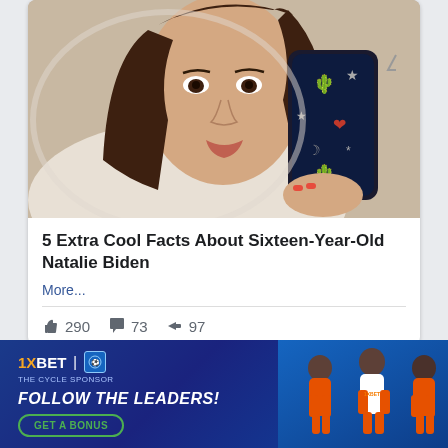[Figure (photo): A young woman taking a mirror selfie with a smartphone that has a cactus/heart/star patterned case. She has long brown hair and is wearing a white turtleneck.]
5 Extra Cool Facts About Sixteen-Year-Old Natalie Biden
More...
👍 290   💬 73   ➤ 97
[Figure (infographic): 1xBET advertisement banner with text 'FOLLOW THE LEADERS!' and 'GET A BONUS' button. Features three soccer players in orange uniforms on a blue gradient background.]